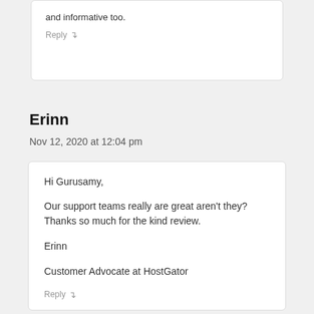and informative too.
Reply ↴
Erinn
Nov 12, 2020 at 12:04 pm
Hi Gurusamy,

Our support teams really are great aren't they? Thanks so much for the kind review.

Erinn
Customer Advocate at HostGator
Reply ↴